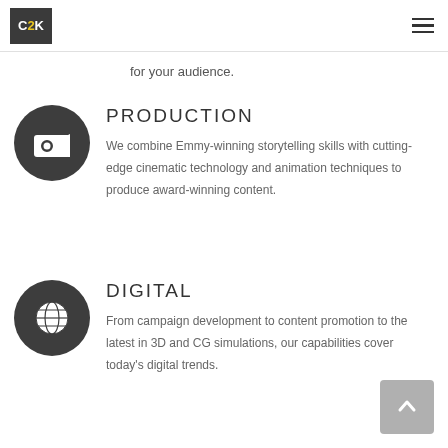C2K
for your audience.
PRODUCTION
We combine Emmy-winning storytelling skills with cutting-edge cinematic technology and animation techniques to produce award-winning content.
DIGITAL
From campaign development to content promotion to the latest in 3D and CG simulations, our capabilities cover today's digital trends.